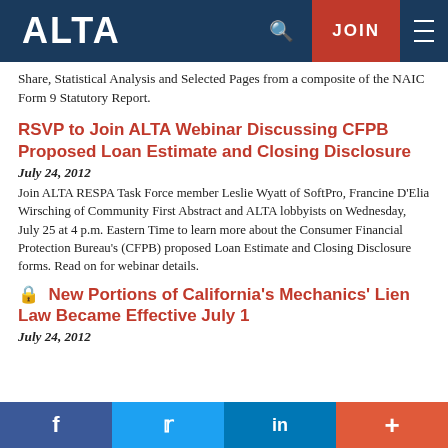ALTA | JOIN
Share, Statistical Analysis and Selected Pages from a composite of the NAIC Form 9 Statutory Report.
RSVP to Join ALTA Webinar Discussing CFPB Proposed Loan Estimate and Closing Disclosure
July 24, 2012
Join ALTA RESPA Task Force member Leslie Wyatt of SoftPro, Francine D'Elia Wirsching of Community First Abstract and ALTA lobbyists on Wednesday, July 25 at 4 p.m. Eastern Time to learn more about the Consumer Financial Protection Bureau's (CFPB) proposed Loan Estimate and Closing Disclosure forms. Read on for webinar details.
New Portions of California's Mechanics' Lien Law Became Effective July 1
July 24, 2012
f  Twitter  in  +